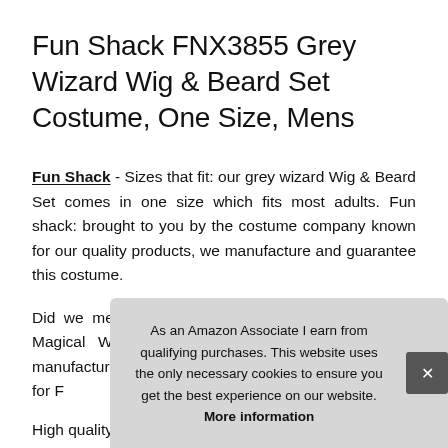Fun Shack FNX3855 Grey Wizard Wig & Beard Set Costume, One Size, Mens
Fun Shack - Sizes that fit: our grey wizard Wig & Beard Set comes in one size which fits most adults. Fun shack: brought to you by the costume company known for our quality products, we manufacture and guarantee this costume.
Did we mention exclusive: this fantastic Adults Grey Magical Wizard Costume Accessory is exclusively manufactured only for F
As an Amazon Associate I earn from qualifying purchases. This website uses the only necessary cookies to ensure you get the best experience on our website. More information
High quality adults grey wizard wig & beard set: Packet